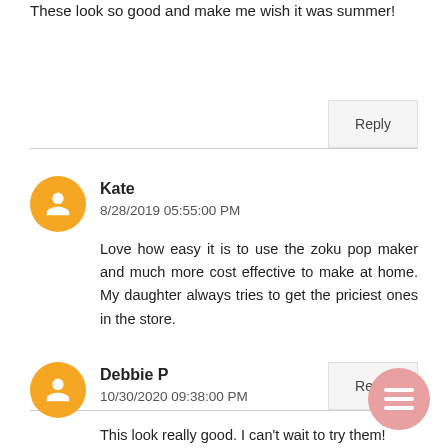These look so good and make me wish it was summer!
Reply
Kate
8/28/2019 05:55:00 PM
Love how easy it is to use the zoku pop maker and much more cost effective to make at home. My daughter always tries to get the priciest ones in the store.
Reply
Debbie P
10/30/2020 09:38:00 PM
This look really good. I can't wait to try them!